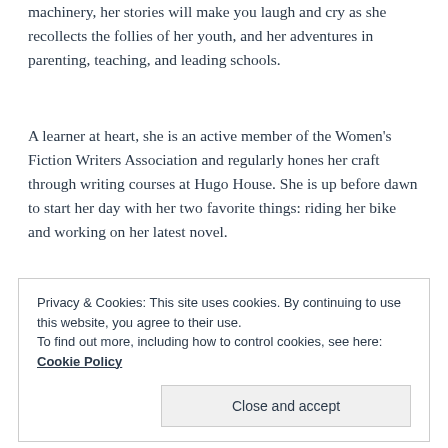machinery, her stories will make you laugh and cry as she recollects the follies of her youth, and her adventures in parenting, teaching, and leading schools.
A learner at heart, she is an active member of the Women's Fiction Writers Association and regularly hones her craft through writing courses at Hugo House. She is up before dawn to start her day with her two favorite things: riding her bike and working on her latest novel.
Privacy & Cookies: This site uses cookies. By continuing to use this website, you agree to their use. To find out more, including how to control cookies, see here: Cookie Policy
Close and accept